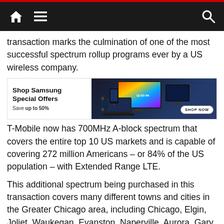Navigation bar with home, menu, and search icons
transaction marks the culmination of one of the most successful spectrum rollup programs ever by a US wireless company.
[Figure (other): Samsung advertisement banner: 'Shop Samsung Special Offers – Save up to 50%' with images of Samsung devices (TV, laptop, monitor, phone, watch) and a 'SHOP NOW' button]
T-Mobile now has 700MHz A-block spectrum that covers the entire top 10 US markets and is capable of covering 272 million Americans – or 84% of the US population – with Extended Range LTE.
This additional spectrum being purchased in this transaction covers many different towns and cities in the Greater Chicago area, including Chicago, Elgin, Joliet, Waukegan, Evanston, Naperville, Aurora, Gary (IN), Rockford, De Kalb, Janesville (WI), Bloomington, Normal, Kankakee, Kenosha (WI) and